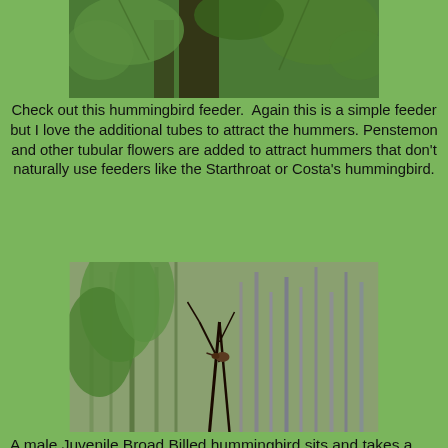[Figure (photo): Partial photo of tree branches with green foliage, cropped at top of page]
Check out this hummingbird feeder.  Again this is a simple feeder but I love the additional tubes to attract the hummers.  Penstemon and other tubular flowers are added to attract hummers that don't naturally use feeders like the Starthroat or Costa's hummingbird.
[Figure (photo): A male Juvenile Broad Billed hummingbird perched on a bare branch surrounded by green shrubs and grass, taken in rainy conditions]
A male Juvenile Broad Billed hummingbird sits and takes a break from the rain showers around us.
[Figure (photo): Bottom portion of photo showing a hummingbird wing against a dark background with copyright watermark '(C)Chris Rohrer']